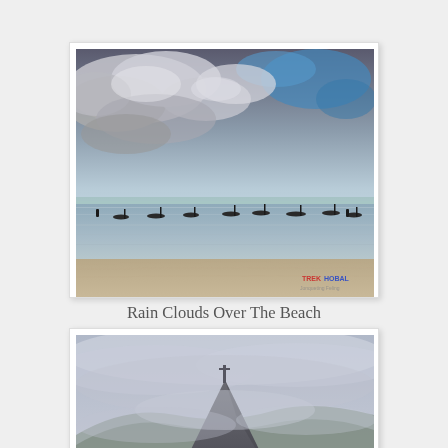[Figure (photo): Beach scene with dramatic cloudy sky, calm water with boats anchored, sandy shore in foreground. Watermark in bottom right corner. Alona Beach, Panglao Island, Bohol.]
Rain Clouds Over The Beach
Alona Beach, Panglao Island, Bohol
[Figure (photo): Mountain peak partially obscured by mist and clouds, with forested hillsides visible below.]